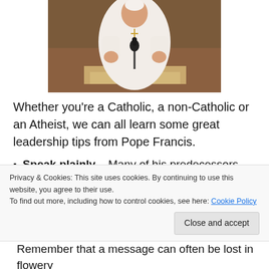[Figure (photo): Photo of Pope Francis in white papal vestments speaking at a podium with a microphone, against a dark wood background.]
Whether you're a Catholic, a non-Catholic or an Atheist, we can all learn some great leadership tips from Pope Francis.
Speak plainly – Many of his predecessors were heavy on theological dogma and spoke in terms that often confused or bored their audiences. However, Pope
Privacy & Cookies: This site uses cookies. By continuing to use this website, you agree to their use.
To find out more, including how to control cookies, see here: Cookie Policy
Remember that a message can often be lost in flowery